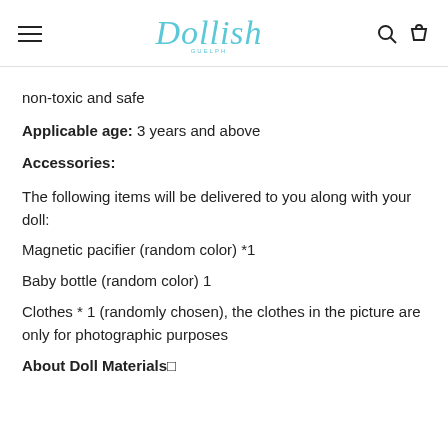Dollish — navigation header with hamburger menu, logo, search and cart icons
non-toxic and safe
Applicable age: 3 years and above
Accessories:
The following items will be delivered to you along with your doll:
Magnetic pacifier (random color) *1
Baby bottle (random color) 1
Clothes * 1 (randomly chosen), the clothes in the picture are only for photographic purposes
About Doll Materials⬜